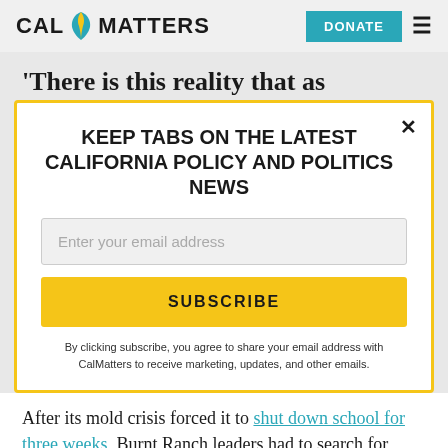CAL MATTERS | DONATE
'There is this reality that as
KEEP TABS ON THE LATEST CALIFORNIA POLICY AND POLITICS NEWS
Enter your email address
SUBSCRIBE
By clicking subscribe, you agree to share your email address with CalMatters to receive marketing, updates, and other emails.
After its mold crisis forced it to shut down school for three weeks, Burnt Ranch leaders had to search for temporary classrooms. Every school